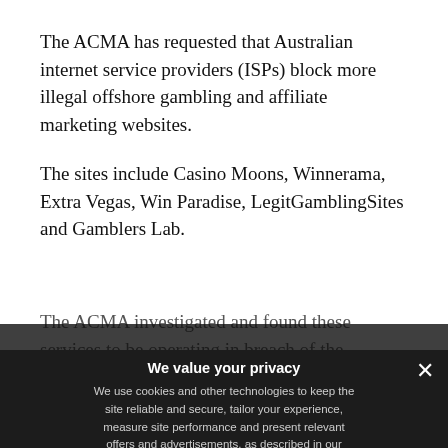The ACMA has requested that Australian internet service providers (ISPs) block more illegal offshore gambling and affiliate marketing websites.
The sites include Casino Moons, Winnerama, Extra Vegas, Win Paradise, LegitGamblingSites and Gamblers Lab.
The ACMA investigated and found these services to be operating in breach of the Interactive Gambling Act
[Figure (screenshot): Cookie consent modal overlay with dark background. Title: 'We value your privacy'. Body text: 'We use cookies and other technologies to keep the site reliable and secure, tailor your experience, measure site performance and present relevant offers and advertisements, as described in our privacy policy and cookie policy.' Contains a 'CONTINUE READING' button outline, a 'Privacy Preferences' link with chevron, and an 'I Agree' cyan button. Close X button top right.]
SHARE   TWEET   ...